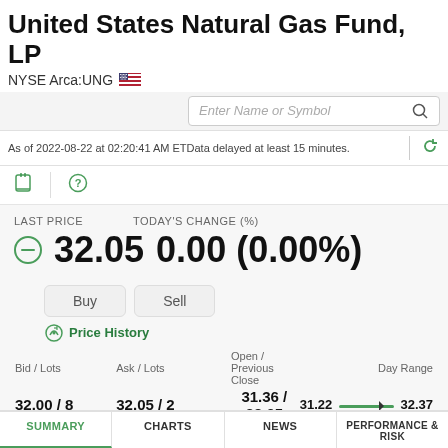United States Natural Gas Fund, LP
NYSE Arca:UNG 🇺🇸
Enter Name or Symbol
As of 2022-08-22 at 02:20:41 AM ET Data delayed at least 15 minutes.
LAST PRICE
TODAY'S CHANGE (%)
32.05
0.00 (0.00%)
Price History
| Bid / Lots | Ask / Lots | Open / Previous Close | Day Range |
| --- | --- | --- | --- |
| 32.00 / 8 | 32.05 / 2 | 31.36 / 32.05 | 31.22 — 32.37 |
| 52 Week Range |  | Volume |  |
| 11.69 — 33.31 |  | 5,541,236 |  |
Overall Morningstar Rating
⚠ Not Rated out of 107 funds
SUMMARY | CHARTS | NEWS | PERFORMANCE & RISK